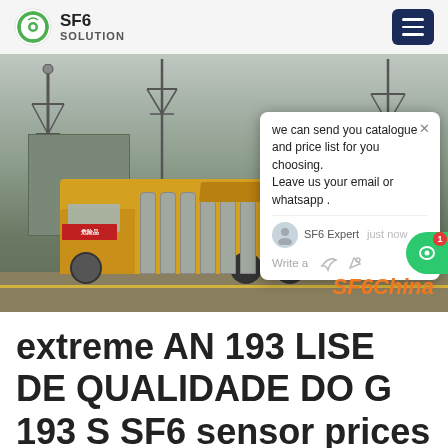SF6 SOLUTION
[Figure (photo): Industrial scene with yellow truck and SF6 gas cylinders at an electrical substation with transmission towers. Chat popup overlay visible. SF6China watermark in orange.]
extreme AN 193 LISE DE QUALIDADE DO G 193 S SF6 sensor prices